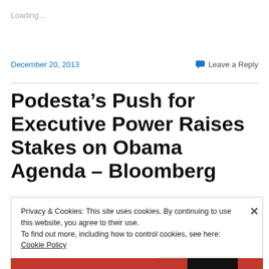Loading...
December 20, 2013
Leave a Reply
Podesta’s Push for Executive Power Raises Stakes on Obama Agenda – Bloomberg
Privacy & Cookies: This site uses cookies. By continuing to use this website, you agree to their use.
To find out more, including how to control cookies, see here: Cookie Policy
Close and accept